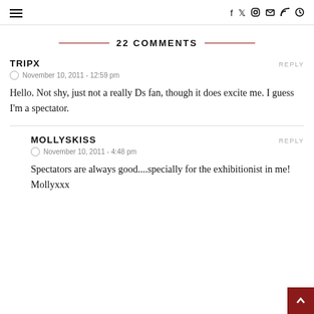≡   f  𝕏  ○  ▶  ✉  )))  🔍
22 COMMENTS
TRIPX
November 10, 2011 - 12:59 pm
Hello. Not shy, just not a really Ds fan, though it does excite me. I guess I'm a spectator.
MOLLYSKISS
November 10, 2011 - 4:48 pm
Spectators are always good....specially for the exhibitionist in me!
Mollyxxx